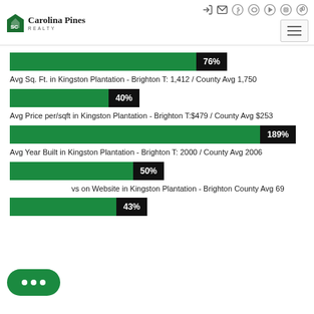Carolina Pines Realty
[Figure (bar-chart): Avg Sq. Ft. bar]
Avg Sq. Ft. in Kingston Plantation - Brighton T: 1,412 / County Avg 1,750
[Figure (bar-chart): Avg Sq. Ft. ratio bar]
Avg Price per/sqft in Kingston Plantation - Brighton T:$479 / County Avg $253
[Figure (bar-chart): Avg Price per/sqft ratio bar]
Avg Year Built in Kingston Plantation - Brighton T: 2000 / County Avg 2006
[Figure (bar-chart): Avg Year Built ratio bar]
vs on Website in Kingston Plantation - Brighton County Avg 69
[Figure (bar-chart): Days on Website ratio bar]